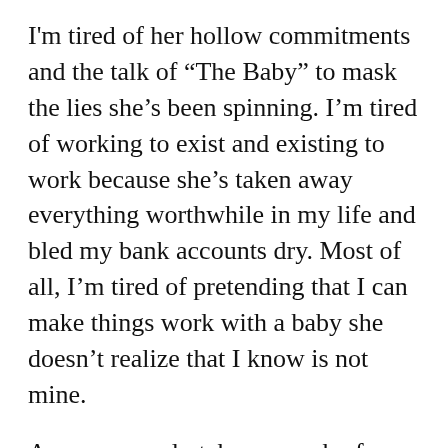I'm tired of her hollow commitments and the talk of “The Baby” to mask the lies she’s been spinning. I’m tired of working to exist and existing to work because she’s taken away everything worthwhile in my life and bled my bank accounts dry. Most of all, I’m tired of pretending that I can make things work with a baby she doesn’t realize that I know is not mine.
A man can only take so much of an evil woman but I still hate myself for having gruesome thoughts of her drowning in the middle of nowhere.
The woman of my dreams of reaching into...